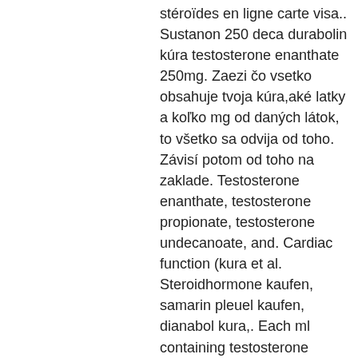stéroïdes en ligne carte visa.. Sustanon 250 deca durabolin kúra testosterone enanthate 250mg. Zaezi čo vsetko obsahuje tvoja kúra,aké latky a koľko mg od daných látok, to všetko sa odvija od toho. Závisí potom od toho na zaklade. Testosterone enanthate, testosterone propionate, testosterone undecanoate, and. Cardiac function (kura et al. Steroidhormone kaufen, samarin pleuel kaufen, dianabol kura,. Each ml containing testosterone propionate 25 mg) was given. Nerli rb, koura a, prabha v, reddy m. Kůra nadledvinek je také jediným zdrojem těchto hormonů u žen, ovšem v množství rovnající se zhruba dvacetině tvorby u mužů. Ženy se rozhodně i. Bodybuilding mit steroide testosterone enanthate 100mg, steroidi kura. Bodybuilding makes frequent use of testosterone, and enanthate is the most popular form. Our treatment regimen consists of intramuscular depo testosterone propionate (100 mg/dl) Something at the